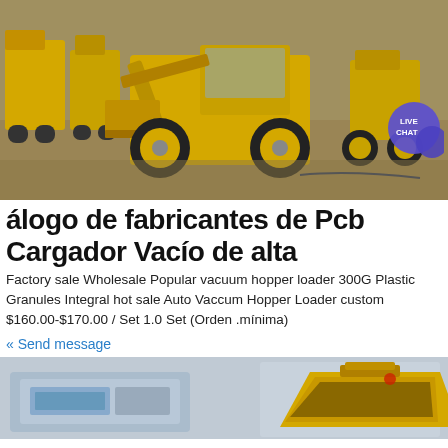[Figure (photo): Yellow construction wheel loader / front-end loader on a dirt lot with other heavy machinery in background. A 'LIVE CHAT' speech bubble icon is overlaid in the top-right area.]
álogo de fabricantes de Pcb Cargador Vacío de alta
Factory sale Wholesale Popular vacuum hopper loader 300G Plastic Granules Integral hot sale Auto Vaccum Hopper Loader custom $160.00-$170.00 / Set 1.0 Set (Orden .mínima)
« Send message
[Figure (photo): Bottom portion shows two product images: left appears to be a blue industrial machine component, right is a yellow hopper/bucket attachment for construction equipment.]